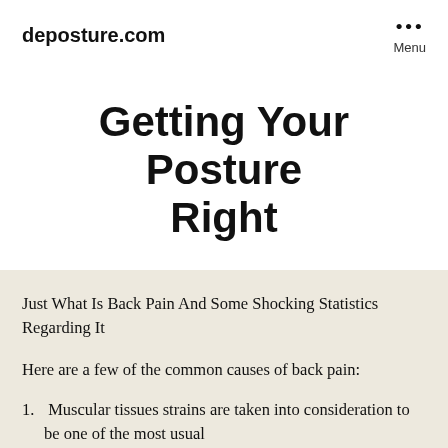deposture.com
Getting Your Posture Right
Just What Is Back Pain And Some Shocking Statistics Regarding It
Here are a few of the common causes of back pain:
1. Muscular tissues strains are taken into consideration to be one of the most usual